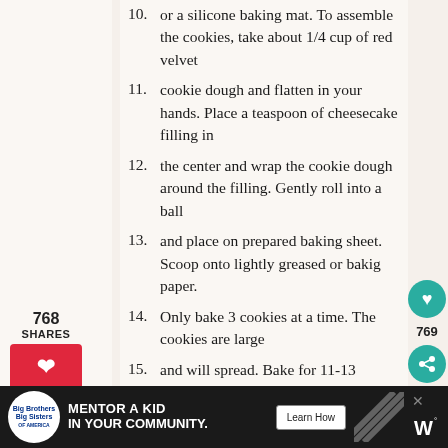10. or a silicone baking mat. To assemble the cookies, take about 1/4 cup of red velvet
11. cookie dough and flatten in your hands. Place a teaspoon of cheesecake filling in
12. the center and wrap the cookie dough around the filling. Gently roll into a ball
13. and place on prepared baking sheet. Scoop onto lightly greased or bakig paper.
14. Only bake 3 cookies at a time. The cookies are large
15. and will spread. Bake for 11-13 minutes or until the cookies begin to crackle.
[Figure (infographic): Left sidebar with share count 768 SHARES and social media buttons for Pinterest, Facebook, Twitter]
[Figure (infographic): Right sidebar with heart/like button showing 769 count and share button]
[Figure (infographic): Bottom advertisement bar: Big Brothers Big Sisters logo, MENTOR A KID IN YOUR COMMUNITY., Learn How button, decorative pattern, W logo]